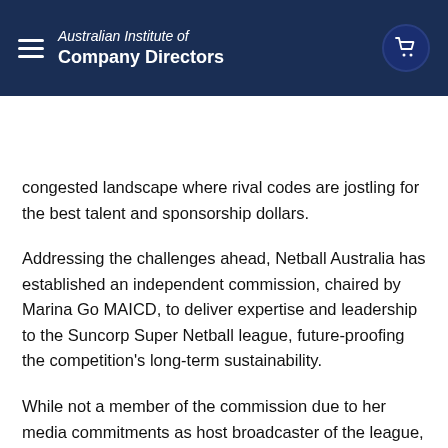Australian Institute of Company Directors
Independence day
congested landscape where rival codes are jostling for the best talent and sponsorship dollars.
Addressing the challenges ahead, Netball Australia has established an independent commission, chaired by Marina Go MAICD, to deliver expertise and leadership to the Suncorp Super Netball league, future-proofing the competition's long-term sustainability.
While not a member of the commission due to her media commitments as host broadcaster of the league, Ellis was approached during its formation and is a firm believer it will set a platform to continue netball's position as the number-one team sport for women and